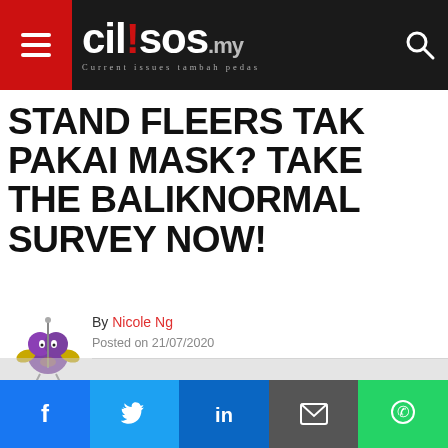cil!sos.my — Current issues tambah pedas
STAND FLEERS TAK PAKAI MASK? TAKE THE BALIKNORMAL SURVEY NOW!
By Nicole Ng
Posted on 21/07/2020